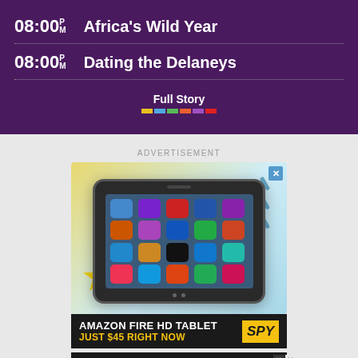08:00 PM  Africa's Wild Year
08:00 PM  Dating the Delaneys
Full Story
ADVERTISEMENT
[Figure (photo): Amazon Fire HD tablet advertisement showing tablet device with colorful app icons on screen, with decorative background elements]
AMAZON FIRE HD TABLET JUST $45 RIGHT NOW SPY
AMAZON FIRE HD TABLETS JUST $45 RIGHT NOW SPY